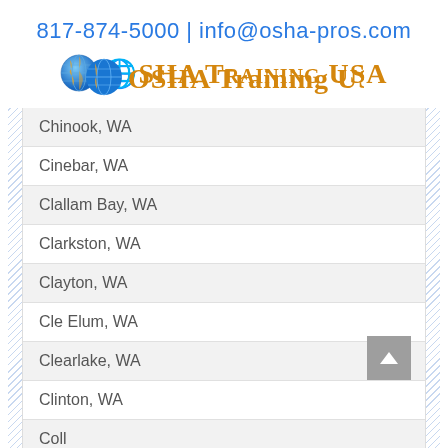817-874-5000 | info@osha-pros.com
[Figure (logo): OSHA Training USA logo with globe icon and orange text]
Chinook, WA
Cinebar, WA
Clallam Bay, WA
Clarkston, WA
Clayton, WA
Cle Elum, WA
Clearlake, WA
Clinton, WA
Coll... WA (partial)